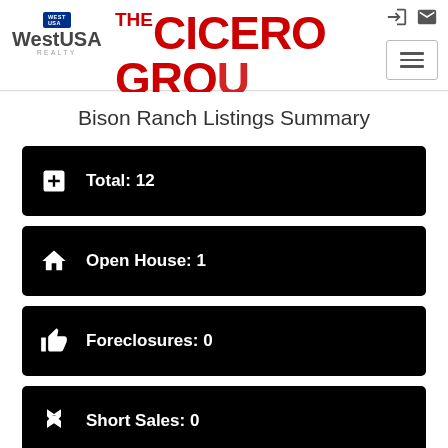[Figure (logo): WestUSA Realty logo with blue flag emblem]
[Figure (logo): The Cicero Group logo in red bold text]
Bison Ranch Listings Summary
Total: 12
Open House: 1
Foreclosures: 0
Short Sales: 0